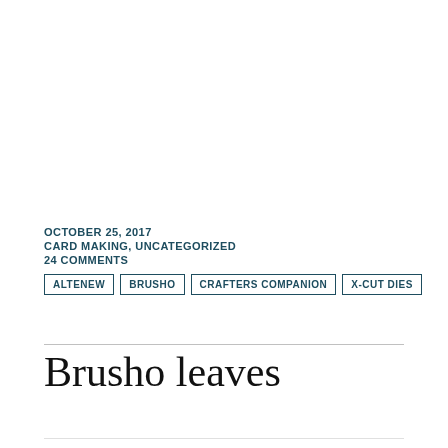OCTOBER 25, 2017
CARD MAKING, UNCATEGORIZED
24 COMMENTS
ALTENEW
BRUSHO
CRAFTERS COMPANION
X-CUT DIES
Brusho leaves